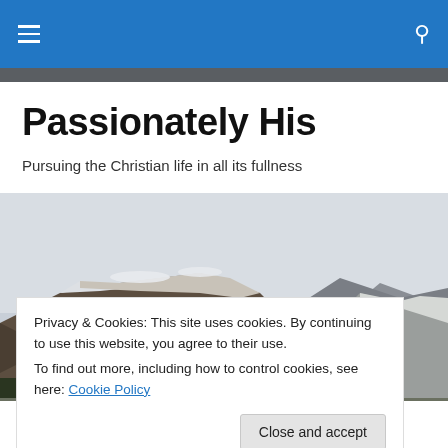Passionately His — navigation bar with hamburger menu and search icon
Passionately His
Pursuing the Christian life in all its fullness
[Figure (photo): Snow-capped rocky mountain range under a cloudy sky]
Privacy & Cookies: This site uses cookies. By continuing to use this website, you agree to their use.
To find out more, including how to control cookies, see here: Cookie Policy
Duct cleaning prep